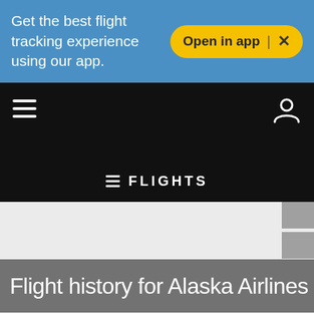Get the best flight tracking experience using our app.
Open in app | ×
[Figure (screenshot): Navigation bar with hamburger menu icon on left, user account icon on right, and FLIGHTS label centered, on black background]
Flight history for Alaska Airlines flight AS205